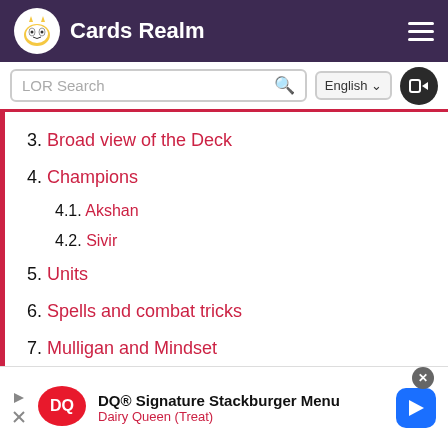Cards Realm
3. Broad view of the Deck
4. Champions
4.1. Akshan
4.2. Sivir
5. Units
6. Spells and combat tricks
7. Mulligan and Mindset
8. Favorable Matchups
8.1. Feel The Rush
DQ® Signature Stackburger Menu
Dairy Queen (Treat)